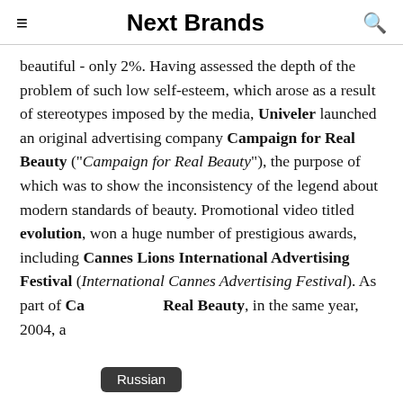Next Brands
beautiful - only 2%. Having assessed the depth of the problem of such low self-esteem, which arose as a result of stereotypes imposed by the media, Univeler launched an original advertising company Campaign for Real Beauty ("Campaign for Real Beauty"), the purpose of which was to show the inconsistency of the legend about modern standards of beauty. Promotional video titled evolution, won a huge number of prestigious awards, including Cannes Lions International Advertising Festival (International Cannes Advertising Festival). As part of Campaign for Real Beauty, in the same year, 2004, a